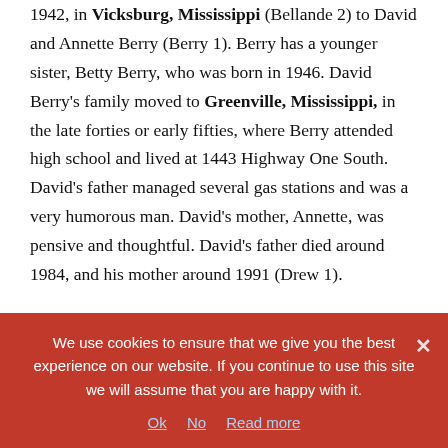1942, in Vicksburg, Mississippi (Bellande 2) to David and Annette Berry (Berry 1). Berry has a younger sister, Betty Berry, who was born in 1946. David Berry's family moved to Greenville, Mississippi, in the late forties or early fifties, where Berry attended high school and lived at 1443 Highway One South. David's father managed several gas stations and was a very humorous man. David's mother, Annette, was pensive and thoughtful. David's father died around 1984, and his mother around 1991 (Drew 1).
Berry says that he began writing poetry in ninth grade due
We use cookies to ensure that we give you the best experience on our website. If you continue to use this site we will assume that you are happy with it.